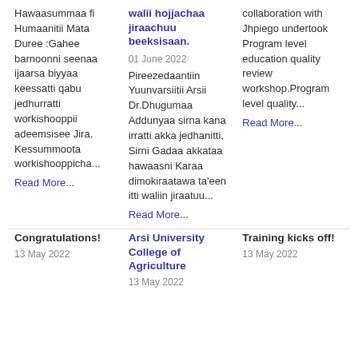Hawaasummaa fi Humaanitii Mata Duree :Gahee barnoonni seenaa ijaarsa biyyaa keessatti qabu jedhurratti workishooppii adeemsisee Jira. Kessummoota workishooppicha...
Read More...
walii hojjachaa jiraachuu beeksisaan.
01 June 2022
Pireezedaantiin Yuunvarsiitii Arsii Dr.Dhugumaa Addunyaa sirna kana irratti akka jedhanitti, Sirni Gadaa akkataa hawaasni Karaa dimokiraatawa ta'een itti waliin jiraatuu...
Read More...
collaboration with Jhpiego undertook Program level education quality review workshop.Program level quality...
Read More...
Congratulations!
13 May 2022
Arsi University College of Agriculture
13 May 2022
Training kicks off!
13 May 2022